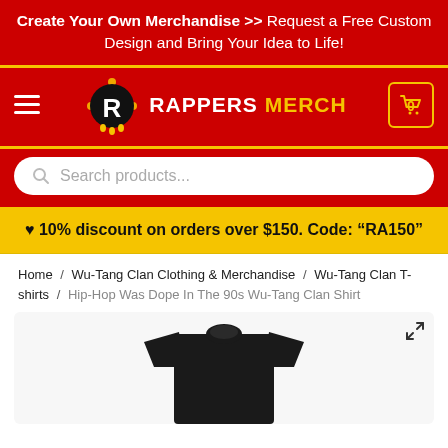Create Your Own Merchandise >> Request a Free Custom Design and Bring Your Idea to Life!
[Figure (logo): Rappers Merch logo with stylized R icon and yellow text on red background]
Search products...
♥ 10% discount on orders over $150. Code: "RA150"
Home / Wu-Tang Clan Clothing & Merchandise / Wu-Tang Clan T-shirts / Hip-Hop Was Dope In The 90s Wu-Tang Clan Shirt
[Figure (photo): Black crew-neck t-shirt product photo on white/light background]